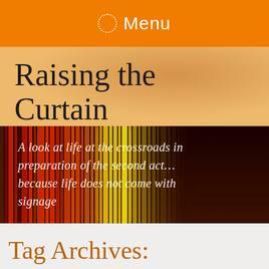Menu
Raising the Curtain
[Figure (illustration): Colorful abstract vertical streaks of red, orange, yellow, and dark colors forming a banner background with overlaid italic text: 'A look at life at the crossroads in preparation of the second act… because life does not come with signage']
Tag Archives: Today I give myself